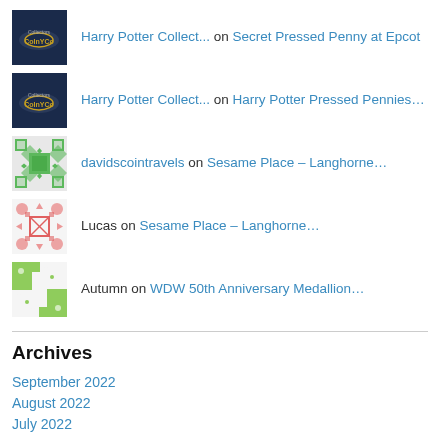Harry Potter Collect... on Secret Pressed Penny at Epcot
Harry Potter Collect... on Harry Potter Pressed Pennies...
davidscointravels on Sesame Place – Langhorne...
Lucas on Sesame Place – Langhorne...
Autumn on WDW 50th Anniversary Medallion...
Archives
September 2022
August 2022
July 2022